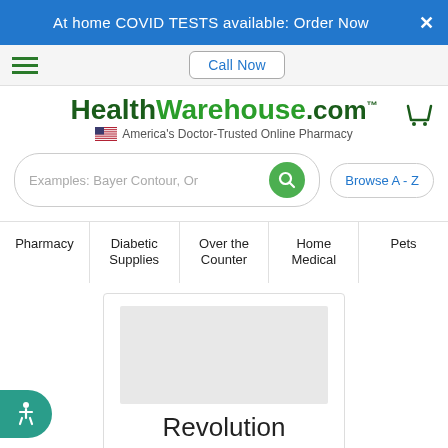At home COVID TESTS available: Order Now
Call Now
[Figure (logo): HealthWarehouse.com logo with tagline 'America's Doctor-Trusted Online Pharmacy' and US flag icon]
Examples: Bayer Contour, Or...
Browse A - Z
Pharmacy
Diabetic Supplies
Over the Counter
Home Medical
Pets
[Figure (photo): Product card showing 'Revolution' text on a gray placeholder image background]